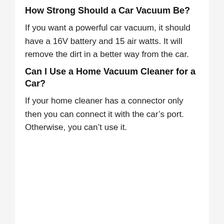How Strong Should a Car Vacuum Be?
If you want a powerful car vacuum, it should have a 16V battery and 15 air watts. It will remove the dirt in a better way from the car.
Can I Use a Home Vacuum Cleaner for a Car?
If your home cleaner has a connector only then you can connect it with the car’s port. Otherwise, you can’t use it.